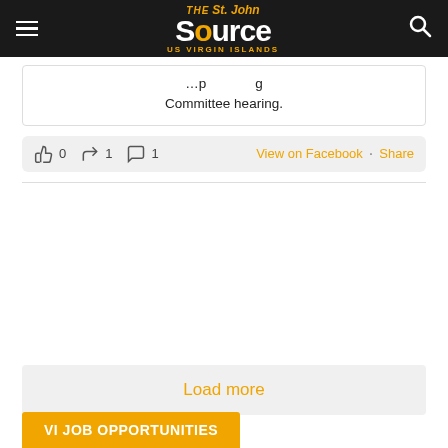THE St. John Source US VIRGIN ISLANDS
Committee hearing.
👍 0  🔁 1  💬 1   View on Facebook · Share
Load more
VI JOB OPPORTUNITIES